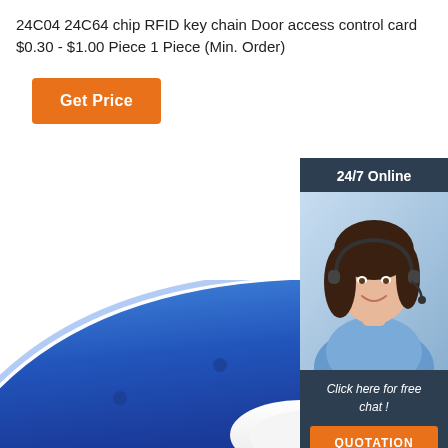24C04 24C64 chip RFID key chain Door access control card $0.30 - $1.00 Piece 1 Piece (Min. Order)
Get Price
[Figure (infographic): 24/7 Online chat widget with photo of customer service representative wearing headset, 'Click here for free chat!' text, and orange QUOTATION button]
[Figure (photo): Blue RFID key chain wristband product photo, partially cropped, with TOP logo badge in bottom right corner]